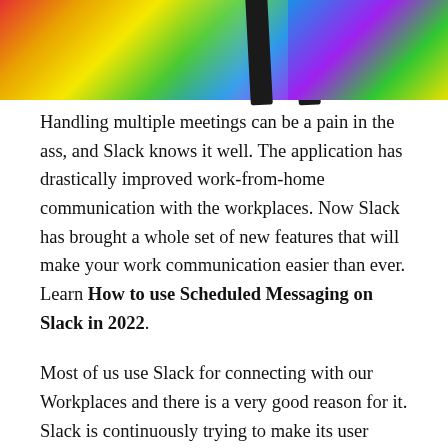[Figure (photo): Two colorful phone/device images side by side at the top of the page, showing rainbow gradient colors on the screens, with a dark phone frame visible on each.]
Handling multiple meetings can be a pain in the ass, and Slack knows it well. The application has drastically improved work-from-home communication with the workplaces. Now Slack has brought a whole set of new features that will make your work communication easier than ever. Learn How to use Scheduled Messaging on Slack in 2022.
Most of us use Slack for connecting with our Workplaces and there is a very good reason for it. Slack is continuously trying to make its user experience better than ever. Now,